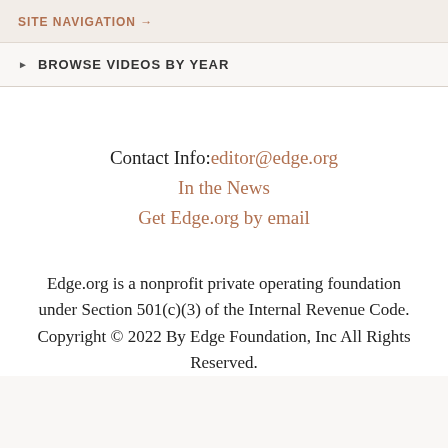SITE NAVIGATION →
▶ BROWSE VIDEOS BY YEAR
Contact Info: editor@edge.org
In the News
Get Edge.org by email
Edge.org is a nonprofit private operating foundation under Section 501(c)(3) of the Internal Revenue Code. Copyright © 2022 By Edge Foundation, Inc All Rights Reserved.